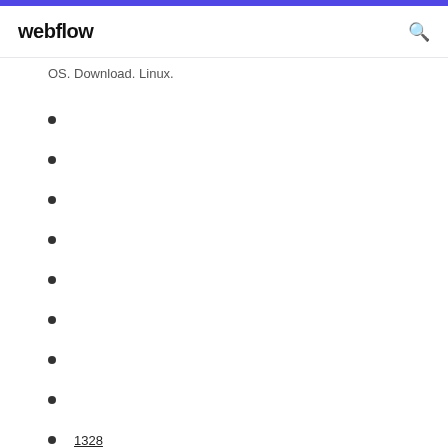webflow
OS. Download. Linux.
1328
1951
1165